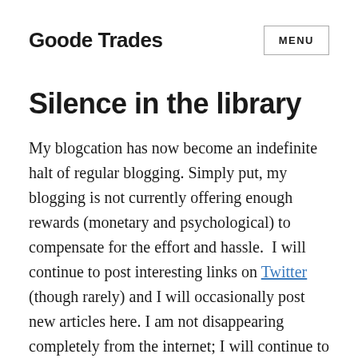Goode Trades
Silence in the library
My blogcation has now become an indefinite halt of regular blogging. Simply put, my blogging is not currently offering enough rewards (monetary and psychological) to compensate for the effort and hassle.  I will continue to post interesting links on Twitter (though rarely) and I will occasionally post new articles here. I am not disappearing completely from the internet; I will continue to be the